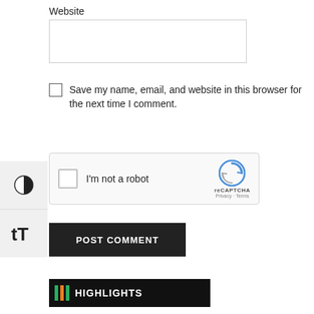Website
[Figure (screenshot): Website text input field (empty text box)]
Save my name, email, and website in this browser for the next time I comment.
[Figure (screenshot): reCAPTCHA widget with checkbox labeled 'I'm not a robot' and reCAPTCHA logo with Privacy · Terms links]
POST COMMENT
HIGHLIGHTS